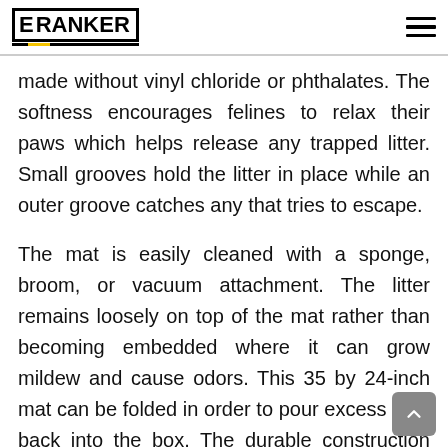E-RANKER
made without vinyl chloride or phthalates. The softness encourages felines to relax their paws which helps release any trapped litter. Small grooves hold the litter in place while an outer groove catches any that tries to escape.
The mat is easily cleaned with a sponge, broom, or vacuum attachment. The litter remains loosely on top of the mat rather than becoming embedded where it can grow mildew and cause odors. This 35 by 24-inch mat can be folded in order to pour excess litter back into the box. The durable construction prevents sliding while being flexible enough to fit into tight areas.